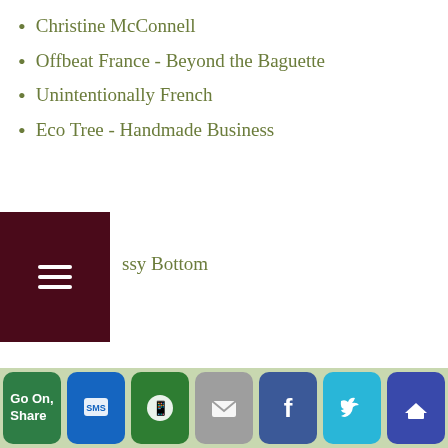Christine McConnell
Offbeat France - Beyond the Baguette
Unintentionally French
Eco Tree - Handmade Business
ssy Bottom
TRANSLATE THIS PAGE
Select Language
Powered by Google Translate